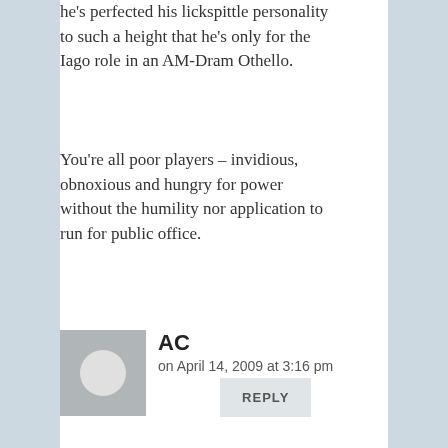he's perfected his lickspittle personality to such a height that he's only for the Iago role in an AM-Dram Othello.
You're all poor players – invidious, obnoxious and hungry for power without the humility nor application to run for public office.
REPLY
[Figure (photo): Avatar placeholder image: gray square with white circle]
AC on April 14, 2009 at 3:16 pm